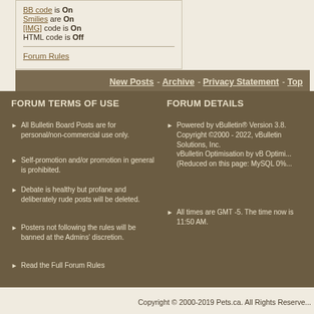BB code is On
Smilies are On
[IMG] code is On
HTML code is Off
Forum Rules
New Posts - Archive - Privacy Statement - Top
FORUM TERMS OF USE
All Bulletin Board Posts are for personal/non-commercial use only.
Self-promotion and/or promotion in general is prohibited.
Debate is healthy but profane and deliberately rude posts will be deleted.
Posters not following the rules will be banned at the Admins' discretion.
Read the Full Forum Rules
FORUM DETAILS
Powered by vBulletin® Version 3.8. Copyright ©2000 - 2022, vBulletin Solutions, Inc. vBulletin Optimisation by vB Optimi... (Reduced on this page: MySQL 0%...
All times are GMT -5. The time now is 11:50 AM.
Copyright © 2000-2019 Pets.ca. All Rights Reserved.